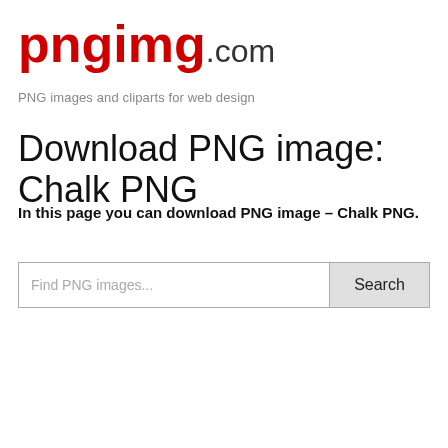[Figure (logo): pngimg.com logo with 'pngimg' in red bold text and '.com' in dark gray]
PNG images and cliparts for web design
Download PNG image: Chalk PNG
In this page you can download PNG image – Chalk PNG.
[Figure (other): Search box with placeholder 'Find PNG images...' and a Search button]